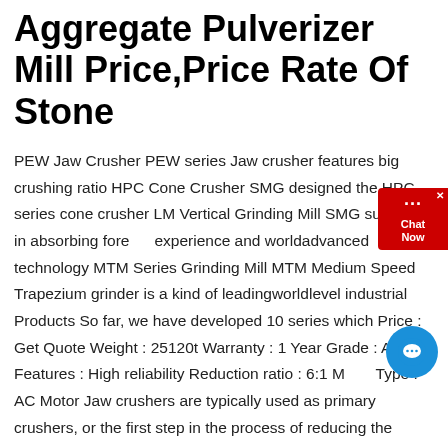Aggregate Pulverizer Mill Price,Price Rate Of Stone
PEW Jaw Crusher PEW series Jaw crusher features big crushing ratio HPC Cone Crusher SMG designed the HPC series cone crusher LM Vertical Grinding Mill SMG success in absorbing foreign experience and worldadvanced technology MTM Series Grinding Mill MTM Medium Speed Trapezium grinder is a kind of leadingworldlevel industrial Products So far, we have developed 10 series which Price : Get Quote Weight : 25120t Warranty : 1 Year Grade : A1 Features : High reliability Reduction ratio : 6:1 Motor Type : AC Motor Jaw crushers are typically used as primary crushers, or the first step in the process of reducing the material (produd) Jaw Crusher jaw crushers Suppliers, Jaw Crusher Aggregate Jaw Crusher is especially designed for fast crushing of aggregates ores, minerals, coke, coal, chemicals and similar materials Our Aggregate Jaw Crusher is compact and of rugged